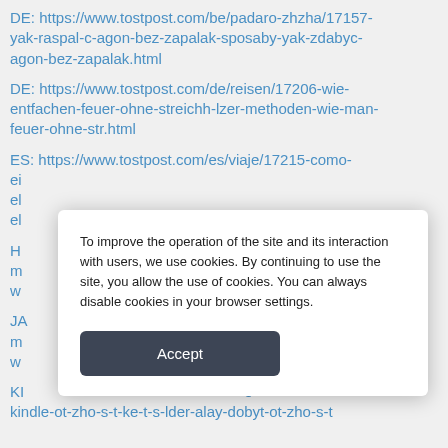DE: https://www.tostpost.com/be/padaro-zhzha/17157-yak-raspal-c-agon-bez-zapalak-sposaby-yak-zdabyc-agon-bez-zapalak.html
DE: https://www.tostpost.com/de/reisen/17206-wie-entfachen-feuer-ohne-streichh-lzer-methoden-wie-man-feuer-ohne-str.html
ES: https://www.tostpost.com/es/viaje/17215-como-e... el... el...
H... m... w...
JA... m... w...
KI... kindle-ot-zho-s-t-ke-t-s-lder-alay-dobyt-ot-zho-s-t...
To improve the operation of the site and its interaction with users, we use cookies. By continuing to use the site, you allow the use of cookies. You can always disable cookies in your browser settings.
Accept